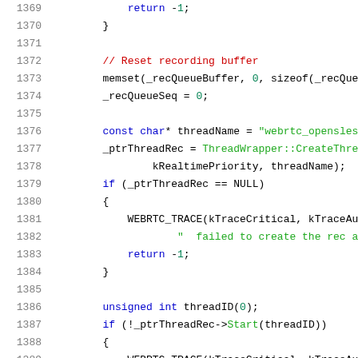[Figure (screenshot): Source code viewer showing C++ code lines 1369-1390 with syntax highlighting. Line numbers in gray on the left, keywords in blue, comments in red, strings in green, numbers in teal.]